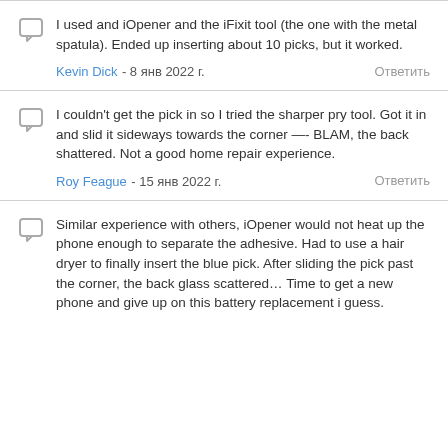I used and iOpener and the iFixit tool (the one with the metal spatula). Ended up inserting about 10 picks, but it worked.
Kevin Dick - 8 янв 2022 г.   Ответить
I couldn't get the pick in so I tried the sharper pry tool. Got it in and slid it sideways towards the corner —- BLAM, the back shattered. Not a good home repair experience.
Roy Feague - 15 янв 2022 г.   Ответить
Similar experience with others, iOpener would not heat up the phone enough to separate the adhesive. Had to use a hair dryer to finally insert the blue pick. After sliding the pick past the corner, the back glass scattered… Time to get a new phone and give up on this battery replacement i guess.